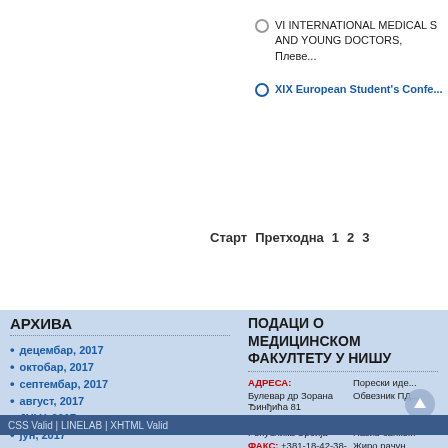VI INTERNATIONAL MEDICAL S... AND YOUNG DOCTORS, Плеве...
XIX European Student's Confe...
Старт  Претходна  1  2  3
АРХИВА
децембар, 2017
октобар, 2017
септембар, 2017
август, 2017
JULY, 2017
јун, 2017
ПОДАЦИ О МЕДИЦИНСКОМ ФАКУЛТЕТУ У НИШУ
АДРЕСА: Булевар др Зорана Ђинђића 81
18000 Ниш
Република Србија
ФАКС: +381-18-42-38-770
e-mail: info@medfak.ni.ac.rs
Порески иде...
Обвезник ПД...
Матични бр...
Назив банке...
Жиро рачун...
Шифра дел...
CSS Valid | LINELAB | XHTML Valid